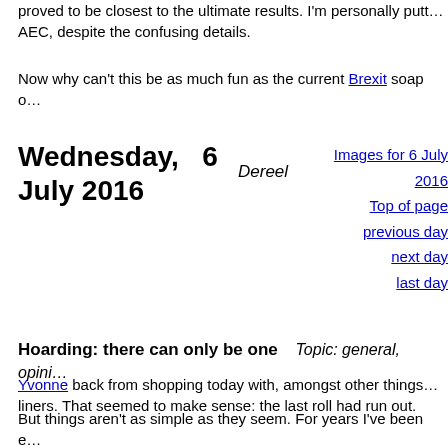proved to be closest to the ultimate results. I'm personally putting my money on AEC, despite the confusing details.
Now why can't this be as much fun as the current Brexit soap o...
Wednesday,   6 July 2016
Dereel
Images for 6 July 2016
Top of page
previous day
next day
last day
Hoarding: there can only be one     Topic: general, opi...
Yvonne back from shopping today with, amongst other things... liners. That seemed to make sense: the last roll had run out.
But things aren't as simple as they seem. For years I've been e... old supplies, so I asked her if she had finished all the old ones... I dug out what proved to be 170 of the same kind of black on... first photo below). They'll keep us going for years.